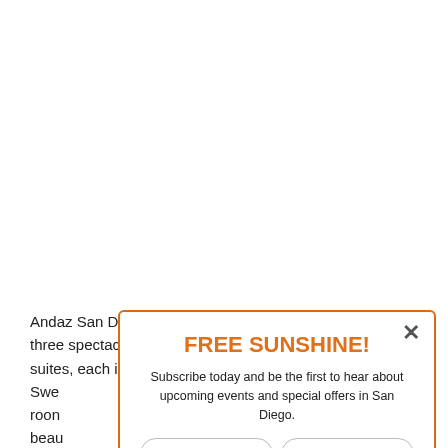Andaz San Diego has three spectacular suites, each individually designed suites. Sweeping views from spacious rooms, impeccably appointed beautiful bathrooms. Cabo Suite – spacious room rock the room the... additional
[Figure (screenshot): Popup overlay with orange border showing 'FREE SUNSHINE!' subscription form with email and postal code input fields, checkbox for exclusive offers, and orange 'Subscribe Now' button. Has an X close button in the top right.]